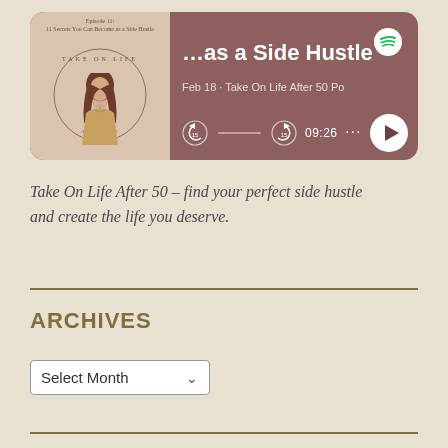[Figure (screenshot): Spotify podcast player card for 'Take On Life After 50' podcast, episode about side hustle. Shows podcast album art on left with circular logo and woman's photo, and player controls on right including title '...as a Side Hustle', date 'Feb 18 · Take On Life After 50 Po', time 09:26, and play button. Background is mauve/dusty rose color.]
Take On Life After 50 – find your perfect side hustle and create the life you deserve.
ARCHIVES
Select Month